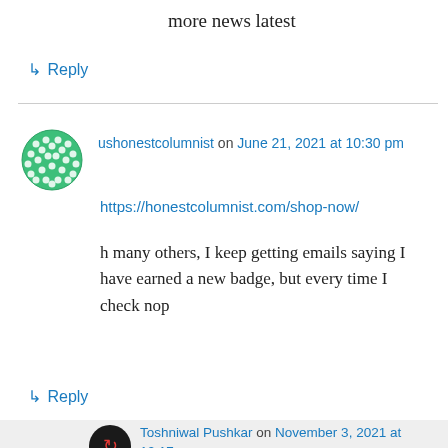more news latest
↳ Reply
ushonestcolumnist on June 21, 2021 at 10:30 pm
https://honestcolumnist.com/shop-now/
h many others, I keep getting emails saying I have earned a new badge, but every time I check nop
↳ Reply
Toshniwal Pushkar on November 3, 2021 at 12:17 am
Simply the article is awesome